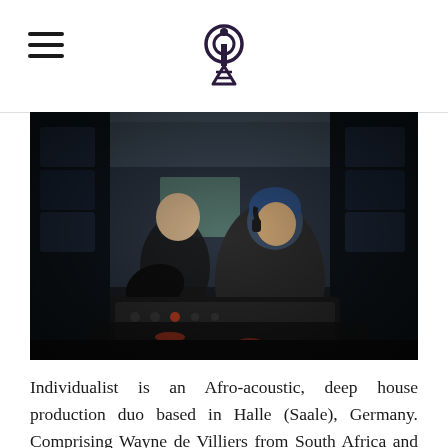[logo: radio tower icon]
[Figure (photo): Two men in a recording studio. One man stands in the background holding an acoustic guitar, wearing a dark shirt. Another man in the foreground wears a blue beanie and hoodie, leaning over DJ/production equipment. The studio has dark acoustic foam panels on the walls and ceiling.]
Individualist is an Afro-acoustic, deep house production duo based in Halle (Saale), Germany. Comprising Wayne de Villiers from South Africa and Rob Collomb from Canada, the duo met by chance in front of the latter's studio and